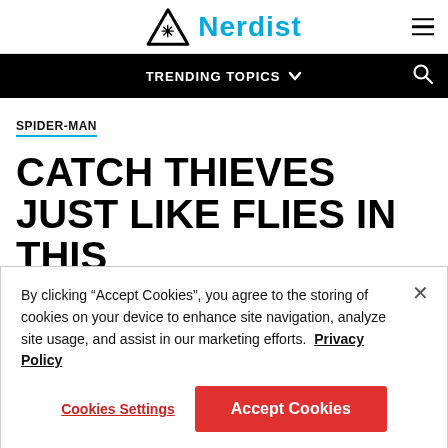[Figure (logo): Nerdist logo: triangle with asterisk icon and cyan 'Nerdist' wordmark]
TRENDING TOPICS
SPIDER-MAN
CATCH THIEVES JUST LIKE FLIES IN THIS
By clicking “Accept Cookies”, you agree to the storing of cookies on your device to enhance site navigation, analyze site usage, and assist in our marketing efforts. Privacy Policy
Cookies Settings
Accept Cookies